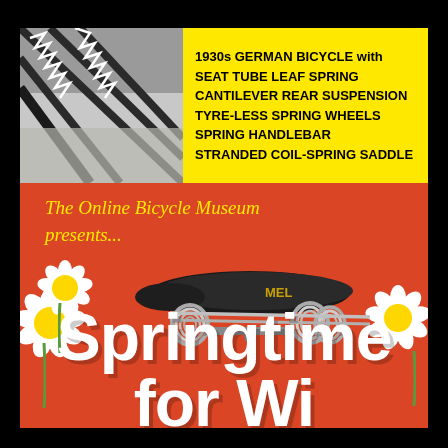[Figure (photo): Close-up black and white photo of a 1930s German bicycle wheel with spring mechanism]
1930s GERMAN BICYCLE with SEAT TUBE LEAF SPRING CANTILEVER REAR SUSPENSION TYRE-LESS SPRING WHEELS SPRING HANDLEBAR STRANDED COIL-SPRING SADDLE
[Figure (illustration): Promotional poster for The Online Bicycle Museum 'Springtime for...' exhibition featuring a coil-spring saddle labeled MEL, daisy flowers on red background]
The Online Bicycle Museum presents...
Springtime